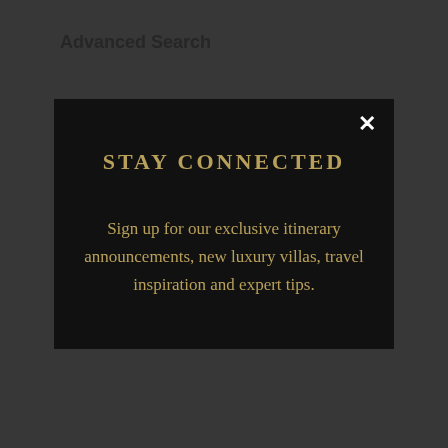STAY CONNECTED
Sign up for our exclusive itinerary announcements, new luxury villas, travel inspiration and expert tips.